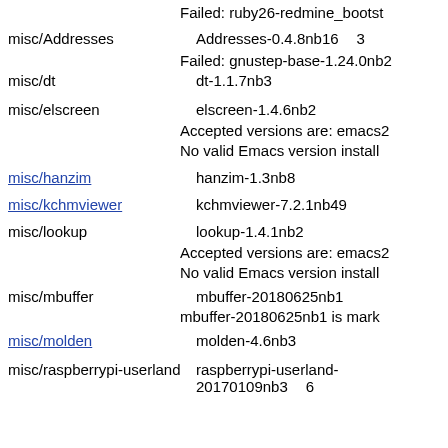Failed: ruby26-redmine_bootst
misc/Addresses	Addresses-0.4.8nb16	3
Failed: gnustep-base-1.24.0nb2
misc/dt	dt-1.1.7nb3
misc/elscreen	elscreen-1.4.6nb2
Accepted versions are: emacs2
No valid Emacs version install
misc/hanzim	hanzim-1.3nb8
misc/kchmviewer	kchmviewer-7.2.1nb49
misc/lookup	lookup-1.4.1nb2
Accepted versions are: emacs2
No valid Emacs version install
misc/mbuffer	mbuffer-20180625nb1
mbuffer-20180625nb1 is mark
misc/molden	molden-4.6nb3
misc/raspberrypi-userland	raspberrypi-userland-20170109nb3	6